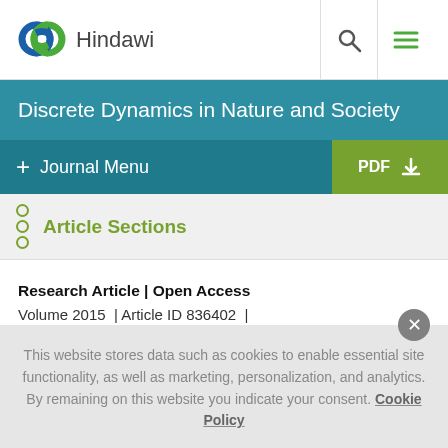Hindawi
Discrete Dynamics in Nature and Society
+ Journal Menu   PDF
Article Sections
Research Article | Open Access
Volume 2015 | Article ID 836402 |
https://doi.org/10.1155/2015/836402
This website stores data such as cookies to enable essential site functionality, as well as marketing, personalization, and analytics. By remaining on this website you indicate your consent. Cookie Policy